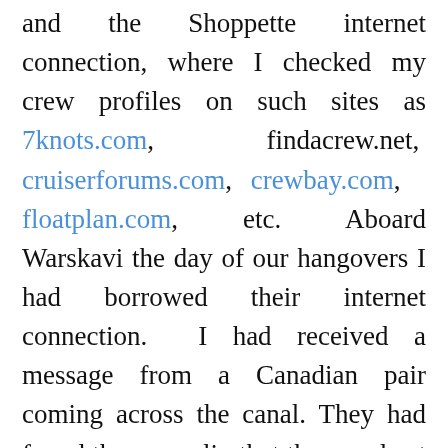and the Shoppette internet connection, where I checked my crew profiles on such sites as 7knots.com, findacrew.net, cruiserforums.com, crewbay.com, floatplan.com, etc. Aboard Warskavi the day of our hangovers I had borrowed their internet connection. I had received a message from a Canadian pair coming across the canal. They had found the crew slip that the people at Shelter Bay Marina had posted for me. They wanted to talk.
In the meantime I kept running into Dirk, who would come sit with me in the cafe and we'd